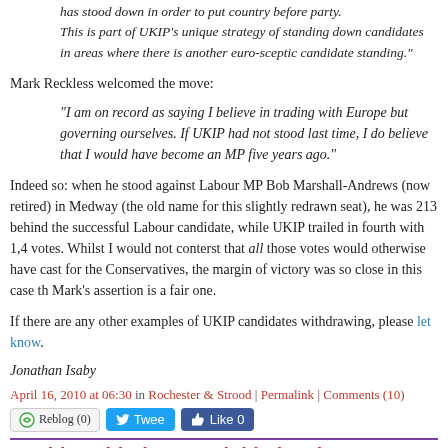has stood down in order to put country before party. This is part of UKIP’s unique strategy of standing down candidates in areas where there is another euro-sceptic candidate standing."
Mark Reckless welcomed the move:
"I am on record as saying I believe in trading with Europe but governing ourselves. If UKIP had not stood last time, I do believe that I would have become an MP five years ago."
Indeed so: when he stood against Labour MP Bob Marshall-Andrews (now retired) in Medway (the old name for this slightly redrawn seat), he was 213 behind the successful Labour candidate, while UKIP trailed in fourth with 1,4 votes. Whilst I would not conterst that all those votes would otherwise have cast for the Conservatives, the margin of victory was so close in this case th Mark’s assertion is a fair one.
If there are any other examples of UKIP candidates withdrawing, please let know.
Jonathan Isaby
April 16, 2010 at 06:30 in Rochester & Strood | Permalink | Comments (10)
7. Older with the state initiative democracy